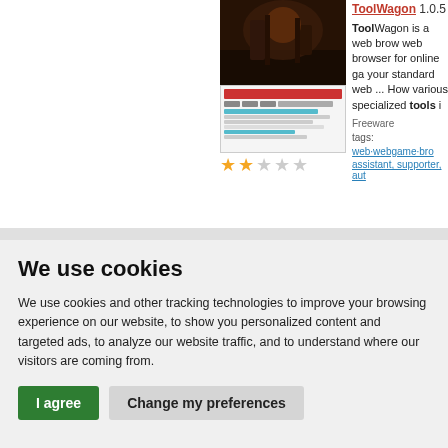[Figure (screenshot): Thumbnail image showing a dark fantasy game screenshot and a browser UI screenshot with star rating (2 out of 5 stars)]
ToolWagon 1.0.5 – ToolWagon is a web browser for online gaming. It is a web browser for online ga... your standard web ... How various specialized tools i... Freeware tags: web·webgame·bro... assistant, supporter, aut...
We use cookies
We use cookies and other tracking technologies to improve your browsing experience on our website, to show you personalized content and targeted ads, to analyze our website traffic, and to understand where our visitors are coming from.
I agree
Change my preferences